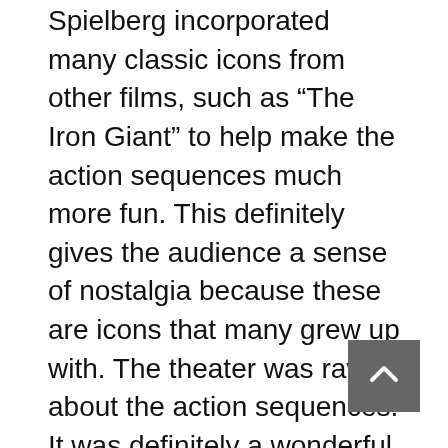Spielberg incorporated many classic icons from other films, such as “The Iron Giant” to help make the action sequences much more fun. This definitely gives the audience a sense of nostalgia because these are icons that many grew up with. The theater was raving about the action sequences. It was definitely a wonderful action spectacle.
The film also perfectly conveys how most modern gamers are. It is a film that depicts an advanced virtual reality where people have to create avatars to play and interact with other people. It is all about forming groups of friends to play a game with while not meeting the players in person. The film is just like the